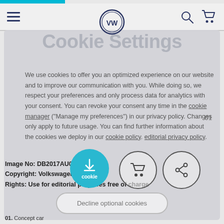[Figure (screenshot): VW website navigation bar with hamburger menu, VW logo, search icon, and cart icon]
Cookie Settings
We use cookies to offer you an optimized experience on our website and to improve our communication with you. While doing so, we respect your preferences and only process data for analytics with your consent. You can revoke your consent any time in the cookie manager ("Manage my preferences") in our privacy policy. Changes only apply to future usage. You can find further information about the cookies we deploy in our cookie policy. editorial privacy policy.
01
Image No: DB2017AU00592
Copyright: Volkswagen AG
Rights: Use for editorial purposes free of charge
Decline optional cookies
01. Concept car